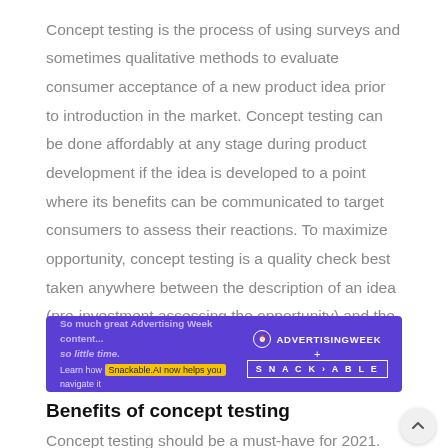Concept testing is the process of using surveys and sometimes qualitative methods to evaluate consumer acceptance of a new product idea prior to introduction in the market. Concept testing can be done affordably at any stage during product development if the idea is developed to a point where its benefits can be communicated to target consumers to assess their reactions. To maximize opportunity, concept testing is a quality check best taken anywhere between the description of an idea (pre-investment assessing the opportunity) and the actual product production.
[Figure (infographic): Purple advertisement banner for Advertising Week and Snackable.AI. Text reads: 'So much great Advertising Week content... so little time. Learn how Snackable.AI now helps you navigate it'. Right side shows Advertising Week logo with clock icon and Snackable logo.]
Benefits of concept testing
Concept testing should be a must-have for 2021. There